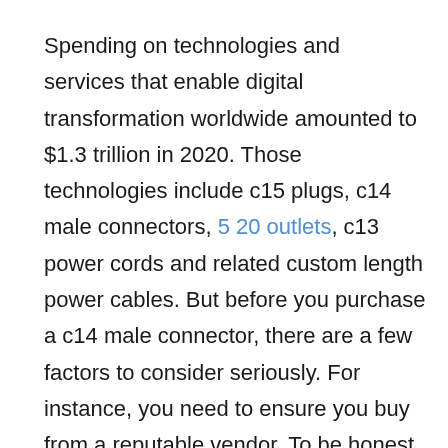Spending on technologies and services that enable digital transformation worldwide amounted to $1.3 trillion in 2020. Those technologies include c15 plugs, c14 male connectors, 5 20 outlets, c13 power cords and related custom length power cables. But before you purchase a c14 male connector, there are a few factors to consider seriously. For instance, you need to ensure you buy from a reputable vendor. To be honest, there are currently many vendors that deal with extension cables, and that is why you have to be very extra careful while shopping for one. Depending on your needs, you must find